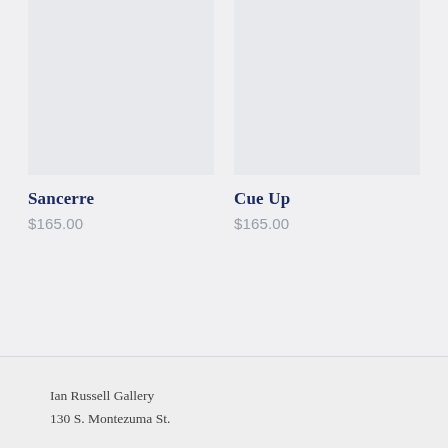[Figure (photo): Left product image placeholder — light gray rectangle]
Sancerre
$165.00
[Figure (photo): Right product image placeholder — light gray rectangle]
Cue Up
$165.00
Ian Russell Gallery
130 S. Montezuma St.